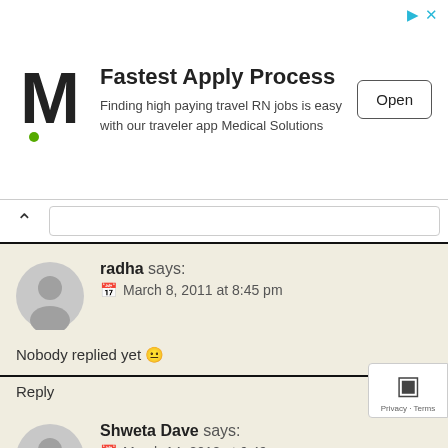[Figure (screenshot): Advertisement banner with M logo for Medical Solutions - Fastest Apply Process]
radha says:
March 8, 2011 at 8:45 pm
Nobody replied yet 😐
Reply
Shweta Dave says:
March 14, 2012 at 6:49 pm
you can add 1/8 cup – 1/4 cup of evaporated milk, or full fat regular milk to this.
Reply